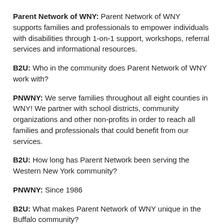Parent Network of WNY: Parent Network of WNY supports families and professionals to empower individuals with disabilities through 1-on-1 support, workshops, referral services and informational resources.
B2U: Who in the community does Parent Network of WNY work with?
PNWNY: We serve families throughout all eight counties in WNY! We partner with school districts, community organizations and other non-profits in order to reach all families and professionals that could benefit from our services.
B2U: How long has Parent Network been serving the Western New York community?
PNWNY: Since 1986
B2U: What makes Parent Network of WNY unique in the Buffalo community?